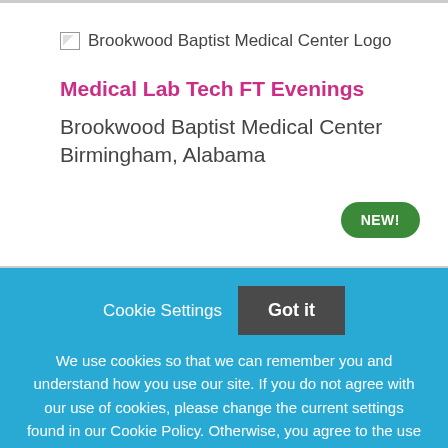[Figure (logo): Brookwood Baptist Medical Center Logo — broken image icon followed by alt text]
Medical Lab Tech FT Evenings
Brookwood Baptist Medical Center
Birmingham, Alabama
NEW!
Cookie Settings
Got it
We use cookies so that we can remember you and understand how you use our site. If you do not agree with our use of cookies, please change the current settings found in our Cookie Policy. Otherwise, you agree to the use of the cookies as they are currently set.